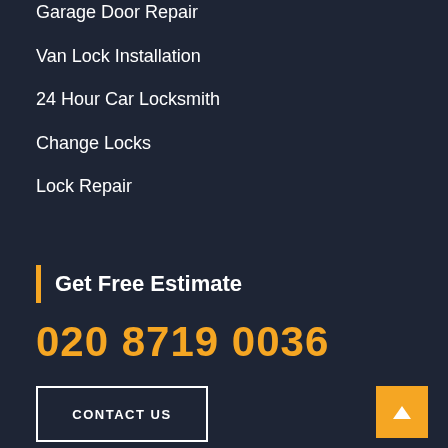Garage Door Repair
Van Lock Installation
24 Hour Car Locksmith
Change Locks
Lock Repair
Get Free Estimate
020 8719 0036
CONTACT US